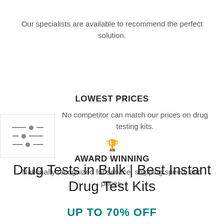Our specialists are available to recommend the perfect solution.
[Figure (illustration): Filter/settings icon with three horizontal lines and circular adjustment dots]
LOWEST PRICES
No competitor can match our prices on drug testing kits.
[Figure (illustration): Trophy icon]
AWARD WINNING
Nationally recognized for service, shipping speed, and prices.
[Figure (illustration): Teal accessibility icon button (circle with person symbol)]
Drug Tests in Bulk | Best Instant Drug Test Kits
UP TO 70% OFF